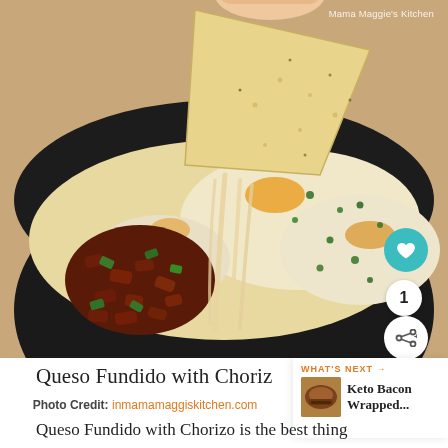[Figure (photo): A cast iron skillet filled with Queso Fundido with Chorizo — melted white cheese topped with chorizo crumbles, diced green peppers, and fresh herbs, with a tortilla chip being pulled up showing stretchy melted cheese strings. A hand holds the chip from above.]
Queso Fundido with Choriz…
[Figure (photo): Small thumbnail of Keto Bacon Wrapped recipe next card]
WHAT'S NEXT → Keto Bacon Wrapped...
Photo Credit: inmamamaggiskitchen.com
Queso Fundido with Chorizo is the best thing…